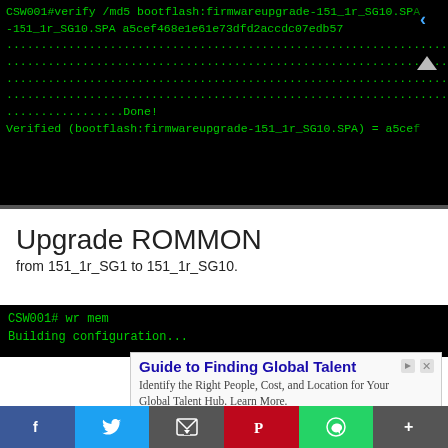[Figure (screenshot): Terminal/CLI output on black background with green text showing md5 verify command output, dots indicating progress, 'Done!' and 'Verified' result line, with a scroll-up arrow and spinner icon.]
Upgrade ROMMON
from 151_1r_SG1 to 151_1r_SG10.
[Figure (screenshot): Terminal/CLI showing 'CSW001# wr mem' and 'Building configuration...' on black background with green monospace text.]
[Figure (other): Advertisement: 'Guide to Finding Global Talent' - Identify the Right People, Cost, and Location for Your Global Talent Hub. Learn More.]
f  (twitter)  (email)  (pinterest)  (whatsapp)  +